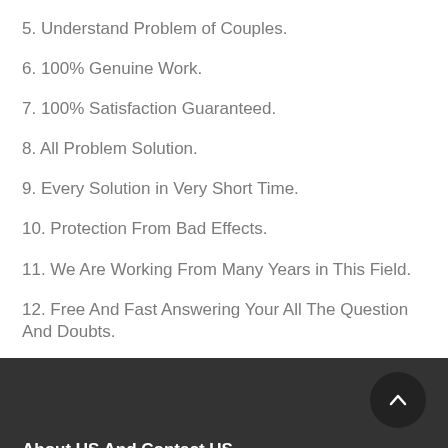5. Understand Problem of Couples.
6. 100% Genuine Work.
7. 100% Satisfaction Guaranteed.
8. All Problem Solution.
9. Every Solution in Very Short Time.
10. Protection From Bad Effects.
11. We Are Working From Many Years in This Field.
12. Free And Fast Answering Your All The Question And Doubts.
About US And Contact US.